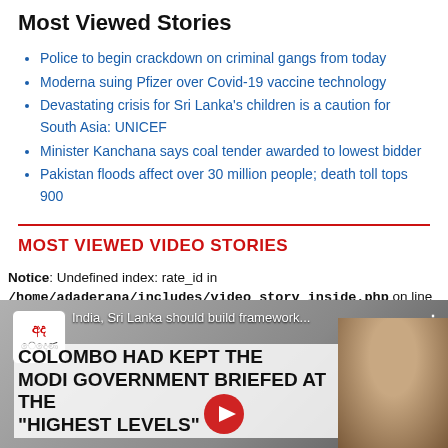Most Viewed Stories
Police to begin crackdown on criminal gangs from today
Moderna suing Pfizer over Covid-19 vaccine technology
Devastating crisis for Sri Lanka's children is a caution for South Asia: UNICEF
Minister Kanchana says coal tender awarded to lowest bidder
Pakistan floods affect over 30 million people; death toll tops 900
MOST VIEWED VIDEO STORIES
Notice: Undefined index: rate_id in /home/adaderana/includes/video_story_inside.php on line 10
Notice: Undefined index: rate_id in /home/adaderana/includes/video_story_inside.php on line 27
[Figure (screenshot): Video thumbnail showing a person and headline text: 'COLOMBO HAD KEPT THE MODI GOVERNMENT BRIEFED AT THE "HIGHEST LEVELS"' with title 'India, Sri Lanka should build framework...' and a channel icon.]